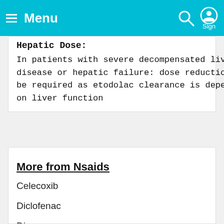Menu
Hepatic Dose:
In patients with severe decompensated liver disease or hepatic failure: dose reduction may be required as etodolac clearance is dependent on liver function
More from Nsaids
Celecoxib
Diclofenac
Dipyrone
Ibuprofen